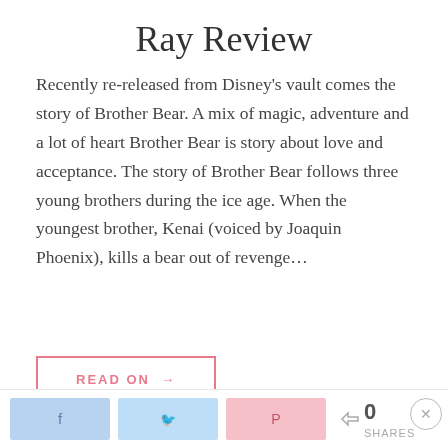Ray Review
Recently re-released from Disney's vault comes the story of Brother Bear. A mix of magic, adventure and a lot of heart Brother Bear is story about love and acceptance. The story of Brother Bear follows three young brothers during the ice age. When the youngest brother, Kenai (voiced by Joaquin Phoenix), kills a bear out of revenge…
READ ON →